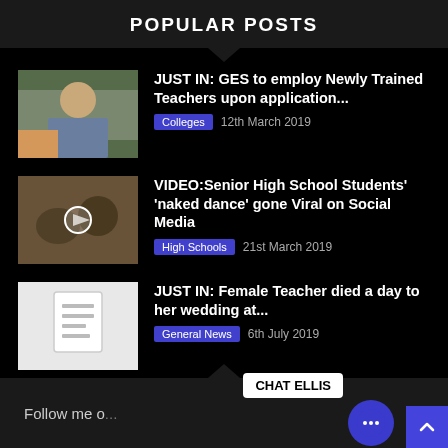POPULAR POSTS
JUST IN: GES to employ Newly Trained Teachers upon application... | Colleges | 12th March 2019
VIDEO:Senior High School Students' 'naked dance' gone Viral on Social Media | High Schools | 21st March 2019
JUST IN: Female Teacher died a day to her wedding at... | General News | 6th July 2019
Follow me o... CHAT ELLIS